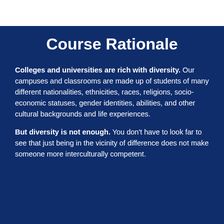Course Rationale
Colleges and universities are rich with diversity. Our campuses and classrooms are made up of students of many different nationalities, ethnicities, races, religions, socio-economic statuses, gender identities, abilities, and other cultural backgrounds and life experiences.
But diversity is not enough. You don't have to look far to see that just being in the vicinity of difference does not make someone more interculturally competent.